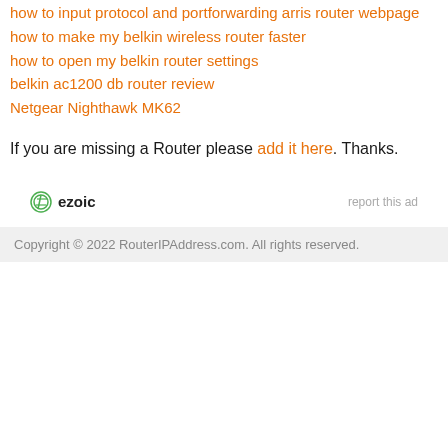how to input protocol and portforwarding arris router webpage
how to make my belkin wireless router faster
how to open my belkin router settings
belkin ac1200 db router review
Netgear Nighthawk MK62
If you are missing a Router please add it here. Thanks.
[Figure (logo): Ezoic logo with circular green icon and bold text 'ezoic']
report this ad
Copyright © 2022 RouterIPAddress.com. All rights reserved.